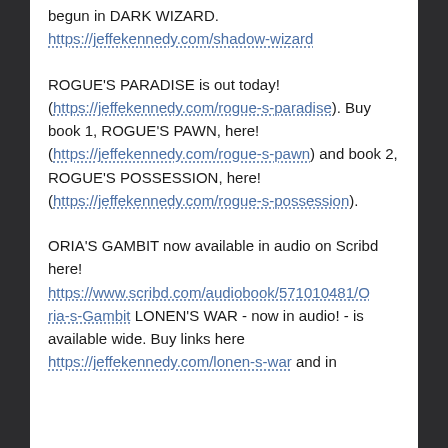begun in DARK WIZARD.
https://jeffekennedy.com/shadow-wizard
ROGUE'S PARADISE is out today!
(https://jeffekennedy.com/rogue-s-paradise). Buy book 1, ROGUE'S PAWN, here!
(https://jeffekennedy.com/rogue-s-pawn) and book 2, ROGUE'S POSSESSION, here!
(https://jeffekennedy.com/rogue-s-possession).
ORIA'S GAMBIT now available in audio on Scribd here!
https://www.scribd.com/audiobook/571010481/Oria-s-Gambit LONEN'S WAR - now in audio! - is available wide. Buy links here
https://jeffekennedy.com/lonen-s-war and in